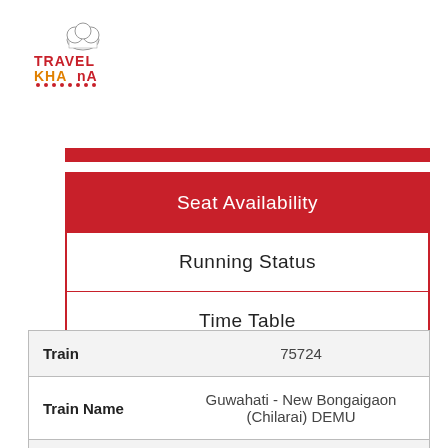[Figure (logo): TravelKhana logo with chef hat icon, red and orange text]
| Field | Value |
| --- | --- |
| Seat Availability |  |
| Running Status |  |
| Time Table |  |
|  |  |
| --- | --- |
| Train | 75724 |
| Train Name | Guwahati - New Bongaigaon (Chilarai) DEMU |
| Soruce | GHY/Guwahati |